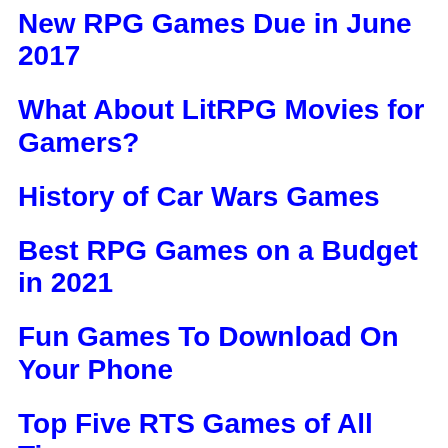New RPG Games Due in June 2017
What About LitRPG Movies for Gamers?
History of Car Wars Games
Best RPG Games on a Budget in 2021
Fun Games To Download On Your Phone
Top Five RTS Games of All Time